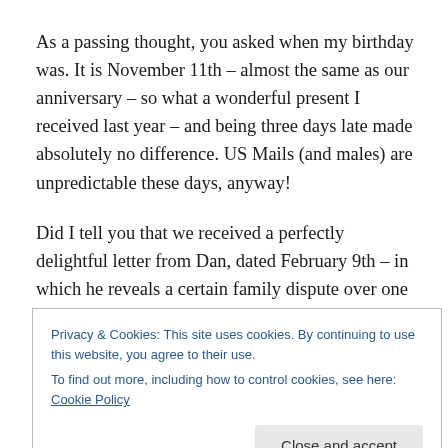As a passing thought, you asked when my birthday was. It is November 11th – almost the same as our anniversary – so what a wonderful present I received last year – and being three days late made absolutely no difference. US Mails (and males) are unpredictable these days, anyway!
Did I tell you that we received a perfectly delightful letter from Dan, dated February 9th – in which he reveals a certain family dispute over one box of cigars which we neglected to label at Christmas time. I know both you and
Privacy & Cookies: This site uses cookies. By continuing to use this website, you agree to their use.
To find out more, including how to control cookies, see here: Cookie Policy
Lad had an unexpected holiday yesterday so we went into